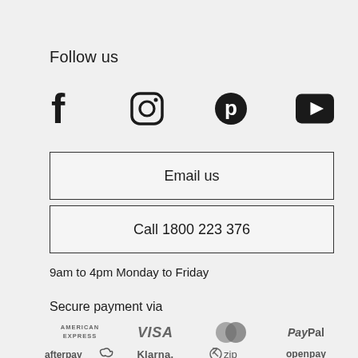Follow us
[Figure (infographic): Four social media icons: Facebook (f), Instagram (camera/rounded square), Pinterest (P circle), YouTube (play button in black rounded rectangle)]
Email us
Call 1800 223 376
9am to 4pm Monday to Friday
Secure payment via
[Figure (infographic): Payment method logos: American Express, VISA, MasterCard, PayPal, Afterpay, Klarna, Zip, Openpay]